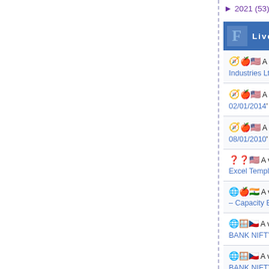► 2021 (53)
Live Traffic Feed
🧭🍎🇺🇸 A visitor from Los angeles, California viewed 'Nifty Next: Apcotex Industries Ltd – Richly Priced' Just now
🧭🍎🇺🇸 A visitor from Los angeles, California viewed 'Nifty Next: 01/01/2014 - 02/01/2014' 51 mins ago
🧭🍎🇺🇸 A visitor from Fairfield, Connecticut viewed 'Nifty Next: 07/01/2010 - 08/01/2010' 1 hr 9 mins ago
❓❓🇺🇸 A visitor from Ashburn, Virginia viewed 'Nifty Next: Stock Analysis Excel Template ( www.sc' 6 hrs 4 mins ago
🌐🍎🇮🇳 A visitor from Cuddalore, Tamil nadu viewed 'Nifty Next: Alufluoride Ltd – Capacity Expansion' 8 hrs 58 mins ago
🌐🪟🇨🇿 A visitor from Prague, Praha, hlavni mesto viewed 'Nifty Next: NSE BANK NIFTY SHOWING WEAKNESS IN CHA' 9 hrs 52 mins ago
🌐🪟🇨🇿 A visitor from Prague, Praha, hlavni mesto viewed 'Nifty Next: NSE BANK NIFTY SHOWING WEAKNESS IN CHA' 10 hrs ago